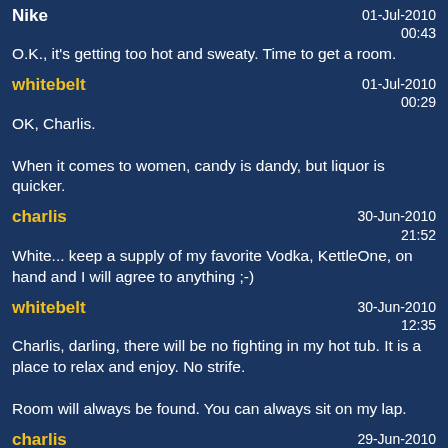Nike | 01-Jul-2010 00:43 | O.K., it's getting too hot and sweaty. Time to get a room.
whitebelt | 01-Jul-2010 00:29 | OK, Charlis.

When it comes to women, candy is dandy, but liquor is quicker.
charlis | 30-Jun-2010 21:52 | White... keep a supply of my favorite Vodka, KettleOne, on hand and I will agree to anything ;-)
whitebelt | 30-Jun-2010 12:35 | Charlis, darling, there will be no fighting in my hot tub. It is a place to relax and enjoy. No strife.

Room will always be found. You can always sit on my lap.
charlis | 29-Jun-2010 23:00 | White... I'll fight you for the use of the hot tub... I miss mine!
whitebelt | 29-Jun-2010 14:47 | Thank you, Miami girl. I have endeavored most of my life to...